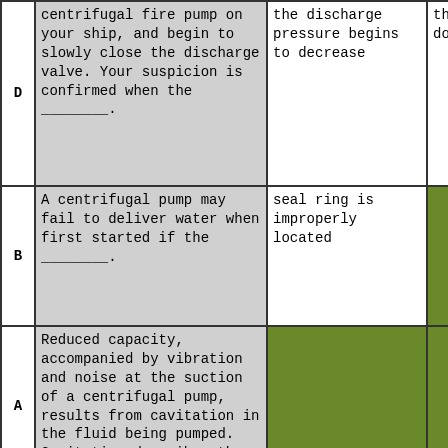| Label | Question/Stem | Answer Option 1 | Answer Option 2 |
| --- | --- | --- | --- |
| D | centrifugal fire pump on your ship, and begin to slowly close the discharge valve. Your suspicion is confirmed when the ________. | the discharge pressure begins to decrease | the does |
| B | A centrifugal pump may fail to deliver water when first started if the ________. | seal ring is improperly located | pump |
| A | Reduced capacity, accompanied by vibration and noise at the suction of a centrifugal pump, results from cavitation in the fluid being pumped. Cavitation describes the formation of | vapor pockets | steam |